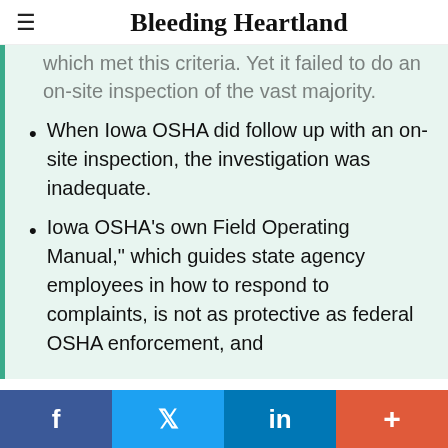≡  Bleeding Heartland
which met this criteria. Yet it failed to do an on-site inspection of the vast majority.
When Iowa OSHA did follow up with an on-site inspection, the investigation was inadequate.
Iowa OSHA's own Field Operating Manual," which guides state agency employees in how to respond to complaints, is not as protective as federal OSHA enforcement, and
f  t  in  +